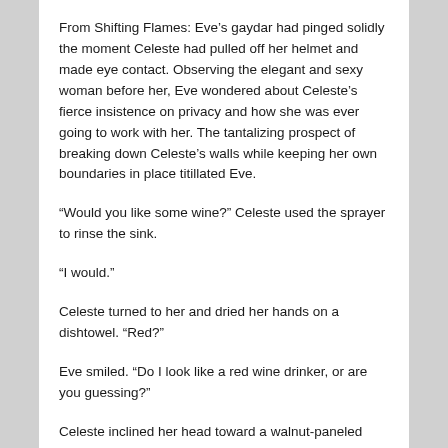From Shifting Flames: Eve’s gaydar had pinged solidly the moment Celeste had pulled off her helmet and made eye contact. Observing the elegant and sexy woman before her, Eve wondered about Celeste’s fierce insistence on privacy and how she was ever going to work with her. The tantalizing prospect of breaking down Celeste’s walls while keeping her own boundaries in place titillated Eve.
“Would you like some wine?” Celeste used the sprayer to rinse the sink.
“I would.”
Celeste turned to her and dried her hands on a dishtowel. “Red?”
Eve smiled. “Do I look like a red wine drinker, or are you guessing?”
Celeste inclined her head toward a walnut-paneled cabinet. “That’s the wine chiller, see if anything there suits